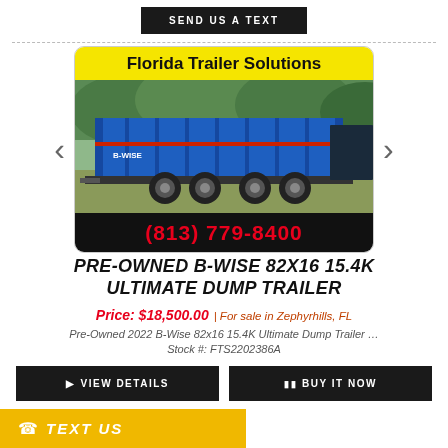SEND US A TEXT
[Figure (photo): Florida Trailer Solutions dealer image card showing a blue B-Wise dump trailer parked on grass, with yellow header 'Florida Trailer Solutions' and black footer showing phone number (813) 779-8400]
PRE-OWNED B-WISE 82X16 15.4K ULTIMATE DUMP TRAILER
Price: $18,500.00 | For sale in Zephyrhills, FL
Pre-Owned 2022 B-Wise 82x16 15.4K Ultimate Dump Trailer …
Stock #: FTS2202386A
VIEW DETAILS
BUY IT NOW
TEXT US